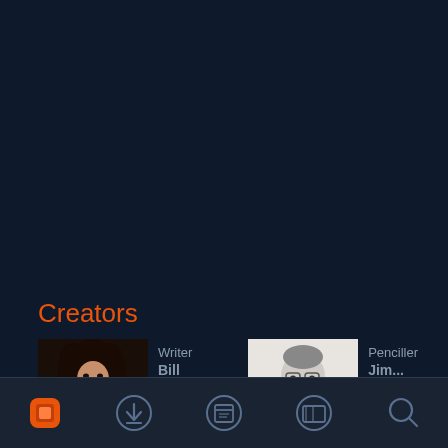Creators
Writer
Penciller
[Figure (screenshot): App navigation screenshot showing a dark-themed comic reader interface with a Creators section at the bottom showing a Writer and Penciller with their photos, and a navigation bar with icons at the bottom.]